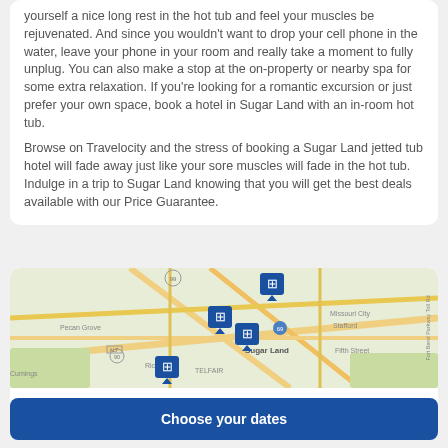yourself a nice long rest in the hot tub and feel your muscles be rejuvenated. And since you wouldn't want to drop your cell phone in the water, leave your phone in your room and really take a moment to fully unplug. You can also make a stop at the on-property or nearby spa for some extra relaxation. If you're looking for a romantic excursion or just prefer your own space, book a hotel in Sugar Land with an in-room hot tub.
Browse on Travelocity and the stress of booking a Sugar Land jetted tub hotel will fade away just like your sore muscles will fade in the hot tub. Indulge in a trip to Sugar Land knowing that you will get the best deals available with our Price Guarantee.
[Figure (map): Map showing Sugar Land area with hotel markers. Locations visible include Pecan Grove, Richmond, Cumings, Telfair, Sugar Land, Missouri City, Stafford, Fifth Street. Blue hotel pin markers shown at multiple locations.]
Show map
Choose your dates